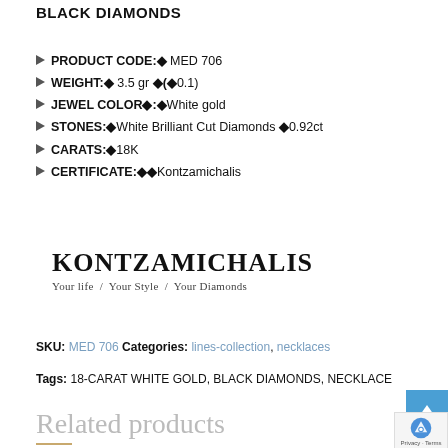BLACK DIAMONDS
PRODUCT CODE:◆ MED 706
WEIGHT:◆ 3.5 gr ◆(◆0.1)
JEWEL COLOR◆:◆White gold
STONES:◆White Brilliant Cut Diamonds ◆0.92ct
CARATS:◆18K
CERTIFICATE:◆◆Kontzamichalis
[Figure (logo): KONTZAMICHALIS brand logo with tagline 'Your life / Your Style / Your Diamonds']
SKU: MED 706 Categories: lines-collection, necklaces
Tags: 18-CARAT WHITE GOLD, BLACK DIAMONDS, NECKLACE
Related products